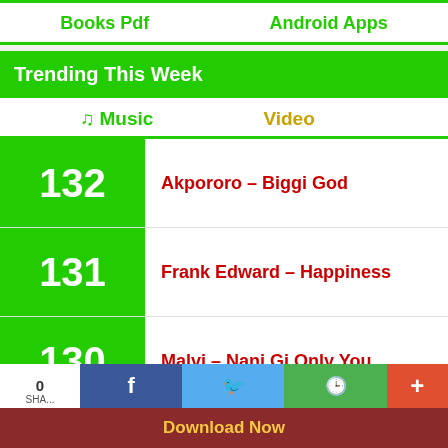Books Pdf   Android Apps
Trending This Week
♫ Music   Video
132 Akpororo – Biggi God
131 Frank Edward – Happiness
130 Malvi – Nani Gi Only You
Download Now